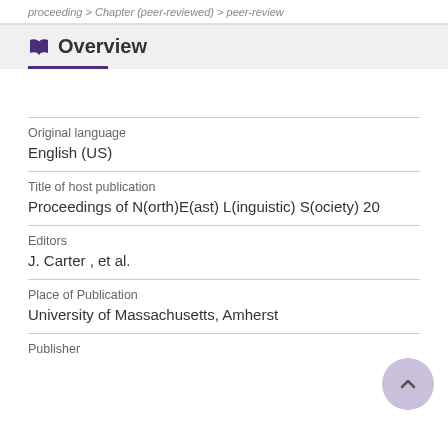proceeding > Chapter (peer-reviewed) > peer-review
Overview
| Original language | English (US) |
| Title of host publication | Proceedings of N(orth)E(ast) L(inguistic) S(ociety) 20 |
| Editors | J. Carter , et al. |
| Place of Publication | University of Massachusetts, Amherst |
| Publisher |  |